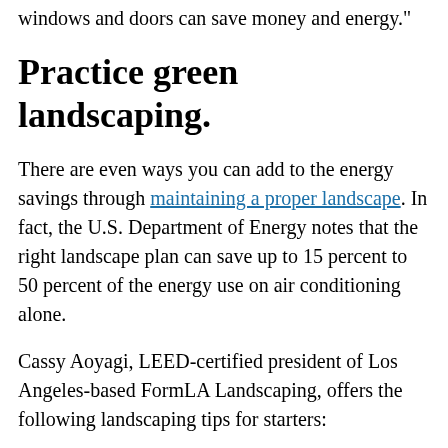windows and doors can save money and energy."
Practice green landscaping.
There are even ways you can add to the energy savings through maintaining a proper landscape. In fact, the U.S. Department of Energy notes that the right landscape plan can save up to 15 percent to 50 percent of the energy use on air conditioning alone.
Cassy Aoyagi, LEED-certified president of Los Angeles-based FormLA Landscaping, offers the following landscaping tips for starters:
Plant deciduous trees to the south/west, where they can shade your home in summer